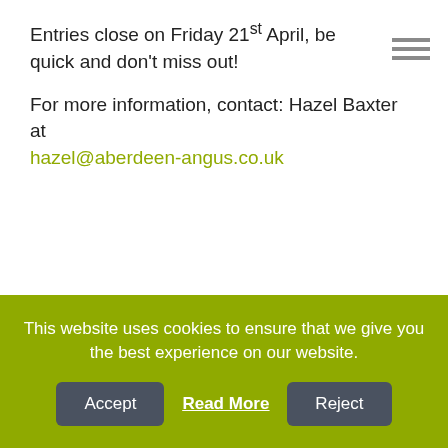Entries close on Friday 21st April, be quick and don't miss out!
For more information, contact: Hazel Baxter at hazel@aberdeen-angus.co.uk
This website uses cookies to ensure that we give you the best experience on our website.
Accept | Read More | Reject